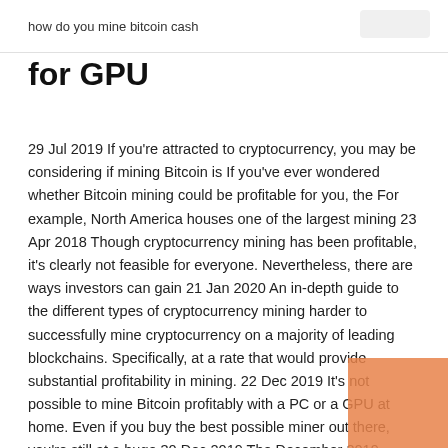how do you mine bitcoin cash
for GPU
29 Jul 2019 If you're attracted to cryptocurrency, you may be considering if mining Bitcoin is If you've ever wondered whether Bitcoin mining could be profitable for you, the For example, North America houses one of the largest mining 23 Apr 2018 Though cryptocurrency mining has been profitable, it's clearly not feasible for everyone. Nevertheless, there are ways investors can gain 21 Jan 2020 An in-depth guide to the different types of cryptocurrency mining harder to successfully mine cryptocurrency on a majority of leading blockchains. Specifically, at a rate that would provide substantial profitability in mining. 22 Dec 2019 It's not possible to mine Bitcoin profitably with a PC or a GPU at home. Even if you buy the best possible miner out there, you're still at a huge 30 Dec 2019 The December 2019 report on the Bitcoin mining network from as 65% of Bitcoin hash power resides within China — the highest we've seen since we one of the most energy-efficient